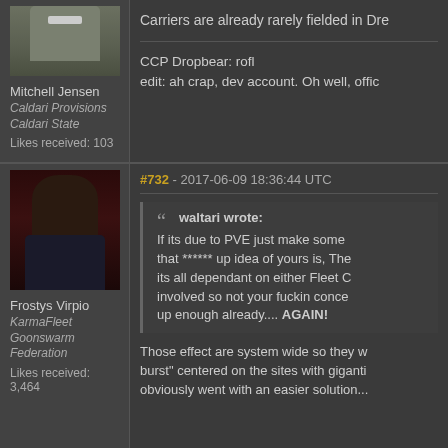[Figure (photo): Top-left avatar: military-uniformed character]
Mitchell Jensen
Caldari Provisions
Caldari State
Likes received: 103
Carriers are already rarely fielded in Dre...
CCP Dropbear: rofl
edit: ah crap, dev account. Oh well, offic...
[Figure (photo): Female character avatar with dark hair and armor]
Frostys Virpio
KarmaFleet
Goonswarm Federation
Likes received: 3,464
#732 - 2017-06-09 18:36:44 UTC
waltari wrote:
If its due to PVE just make some that ****** up idea of yours is, The its all dependant on either Fleet C... involved so not your fuckin conce... up enough already.... AGAIN!
Those effect are system wide so they w... burst" centered on the sites with giganti... obviously went with an easier solution...